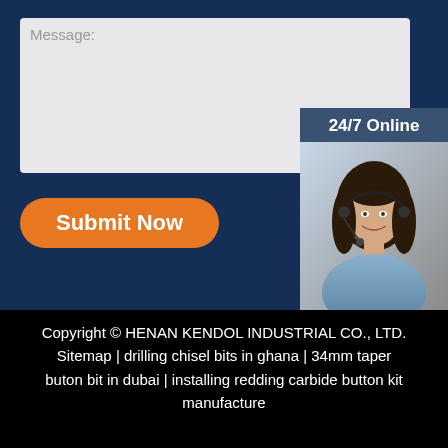[Figure (screenshot): Dark navy blue contact form area with a light grey message input box labeled 'Message:' and an orange rounded 'Submit Now' button]
[Figure (infographic): 24/7 Online chat widget showing a woman with a headset, text 'Click here for free chat!' and an orange QUOTATION button]
Copyright © HENAN KENDOL INDUSTRIAL CO., LTD. Sitemap | drilling chisel bits in ghana | 34mm taper buton bit in dubai | installing redding carbide button kit manufacture